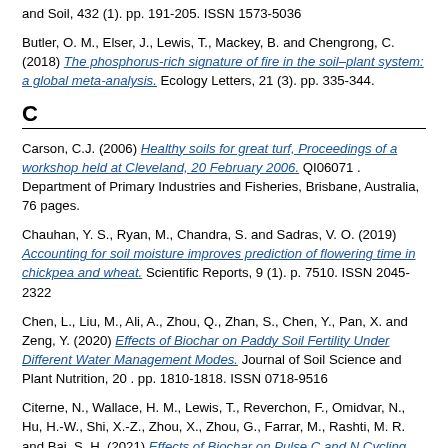and Soil, 432 (1). pp. 191-205. ISSN 1573-5036
Butler, O. M., Elser, J., Lewis, T., Mackey, B. and Chengrong, C. (2018) The phosphorus-rich signature of fire in the soil–plant system: a global meta-analysis. Ecology Letters, 21 (3). pp. 335-344.
C
Carson, C.J. (2006) Healthy soils for great turf, Proceedings of a workshop held at Cleveland, 20 February 2006. QI06071 . Department of Primary Industries and Fisheries, Brisbane, Australia, 76 pages.
Chauhan, Y. S., Ryan, M., Chandra, S. and Sadras, V. O. (2019) Accounting for soil moisture improves prediction of flowering time in chickpea and wheat. Scientific Reports, 9 (1). p. 7510. ISSN 2045-2322
Chen, L., Liu, M., Ali, A., Zhou, Q., Zhan, S., Chen, Y., Pan, X. and Zeng, Y. (2020) Effects of Biochar on Paddy Soil Fertility Under Different Water Management Modes. Journal of Soil Science and Plant Nutrition, 20 . pp. 1810-1818. ISSN 0718-9516
Citerne, N., Wallace, H. M., Lewis, T., Reverchon, F., Omidvar, N., Hu, H.-W., Shi, X.-Z., Zhou, X., Zhou, G., Farrar, M., Rashti, M. R. and Bai, S. H. (2021) Effects of Biochar on Pulse C and N Cycling After a Short-term Drought: a Laboratory Study. Journal of Soil